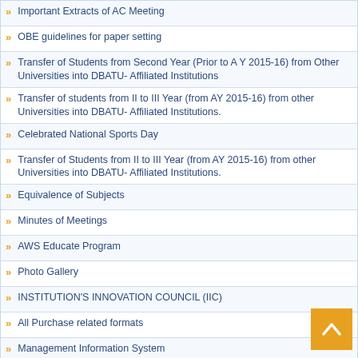Important Extracts of AC Meeting
OBE guidelines for paper setting
Transfer of Students from Second Year (Prior to A Y 2015-16) from Other Universities into DBATU- Affiliated Institutions
Transfer of students from II to III Year (from AY 2015-16) from other Universities into DBATU- Affiliated Institutions.
Celebrated National Sports Day
Transfer of Students from II to III Year (from AY 2015-16) from other Universities into DBATU- Affiliated Institutions.
Equivalence of Subjects
Minutes of Meetings
AWS Educate Program
Photo Gallery
INSTITUTION'S INNOVATION COUNCIL (IIC)
All Purchase related formats
Management Information System
Important Documents List
List of Various Authority
MASTER OF TECHNOLOGY IN MANUFACTURING ENGINEERING
About University Video
Fees Structure: 2021-22
Grievance Redressal
Revised Syllabus: B. Tech. Programs
IQPE (Diploma Wing)